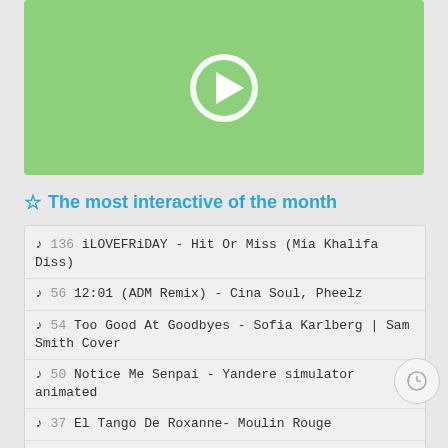[Figure (screenshot): Green video thumbnail with white play button circle in the center]
The most interactive of the month
♪ 136 iLOVEFRiDAY - Hit Or Miss (Mia Khalifa Diss)
♪ 56 12:01 (ADM Remix) - Cina Soul, Pheelz
♪ 54 Too Good At Goodbyes - Sofia Karlberg | Sam Smith Cover
♪ 50 Notice Me Senpai - Yandere simulator animated
♪ 37 El Tango De Roxanne- Moulin Rouge
♪ 36 Cartoon - On & On (feat. Daniel Levi)
♪ 34 My Valentine - Martina McBride
♪ 32 timmies - tell me why i'm waiting (ft. shiloh)
♪ 30 Annabelle's Homework - Alec Benjamin
♪ 23 scarlxrd - HEART ATTACK [Prod. JVCXB]